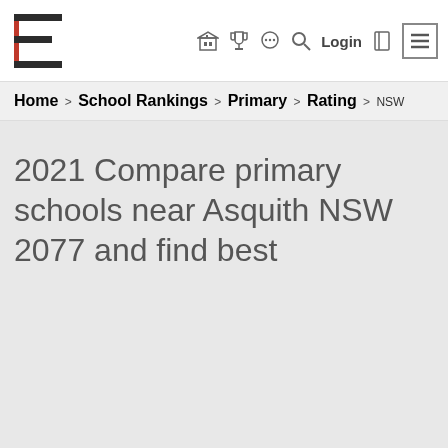[Figure (logo): School rankings website logo — stylized letter E with red and dark lines on white background]
Navigation icons: building, trophy, chat, search, Login, book, hamburger menu
Home > School Rankings > Primary > Rating > NSW
2021 Compare primary schools near Asquith NSW 2077 and find best